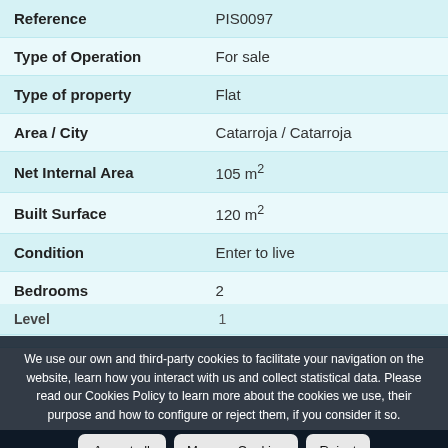| Property | Value |
| --- | --- |
| Reference | PIS0097 |
| Type of Operation | For sale |
| Type of property | Flat |
| Area / City | Catarroja / Catarroja |
| Net Internal Area | 105 m² |
| Built Surface | 120 m² |
| Condition | Enter to live |
| Bedrooms | 2 |
| Bathrooms | 2 |
| Level | 1 |
We use our own and third-party cookies to facilitate your navigation on the website, learn how you interact with us and collect statistical data. Please read our Cookies Policy to learn more about the cookies we use, their purpose and how to configure or reject them, if you consider it so.
Accept all
Manage Cookies
Reject